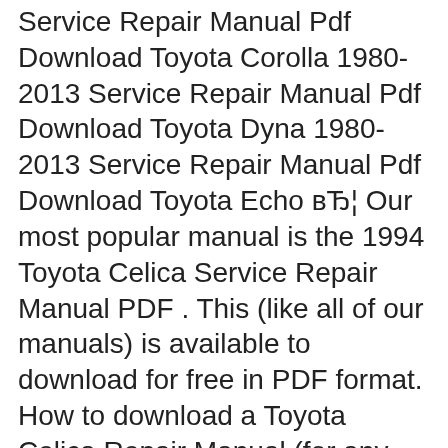Service Repair Manual Pdf Download Toyota Corolla 1980-2013 Service Repair Manual Pdf Download Toyota Dyna 1980-2013 Service Repair Manual Pdf Download Toyota Echo вЂ¦ Our most popular manual is the 1994 Toyota Celica Service Repair Manual PDF . This (like all of our manuals) is available to download for free in PDF format. How to download a Toyota Celica Repair Manual (for any year)
This is the COMPLETE official factory service workshop repair manual from TOYOTAB® for the SUPRAB® production model years 1993 to 1999. All styles covered. 1100 pages allow you to print it out. Uncategorized. 29 Aug. 2011